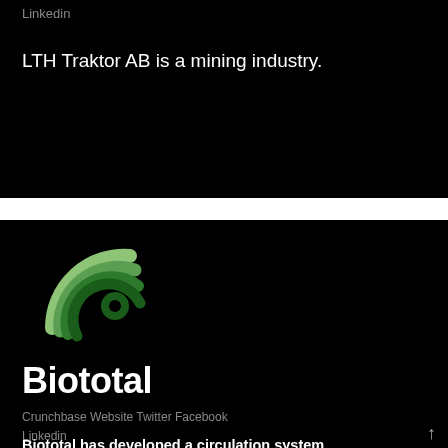Linkedin
LTH Traktor AB is a mining industry.
[Figure (logo): Biototal company logo — concentric arc rings in shades of green forming a circular spiral symbol on black background]
Biototal
Crunchbase Website Twitter Facebook Linkedin
Biototal has developed a circulation system